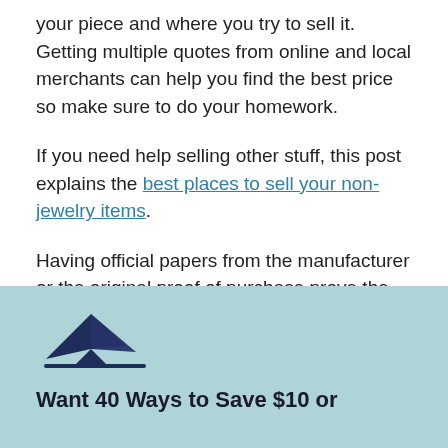your piece and where you try to sell it. Getting multiple quotes from online and local merchants can help you find the best price so make sure to do your homework.
If you need help selling other stuff, this post explains the best places to sell your non-jewelry items.
Having official papers from the manufacturer or the original proof of purchase prove the piece is legit and will help you fetch a higher sales price.
[Figure (illustration): A decorative icon showing an abstract origami-style paper airplane or envelope shape in dark navy blue, with a horizontal baseline line beneath it.]
Want 40 Ways to Save $10 or More?